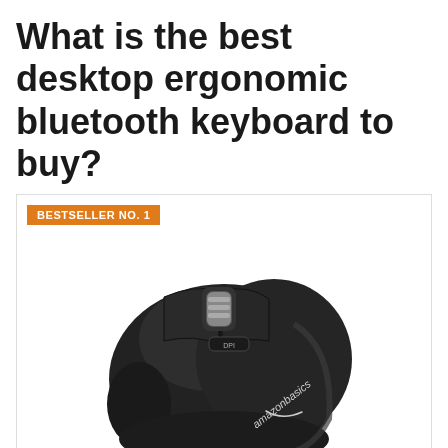What is the best desktop ergonomic bluetooth keyboard to buy?
[Figure (photo): AmazonBasics Ergonomic Wireless PC Mouse - a black wireless mouse with scroll wheel and DPI button, amazonbasics logo visible on the right side, shown on white background]
Amazon Basics Ergonomic Wireless PC Mouse - DPI...